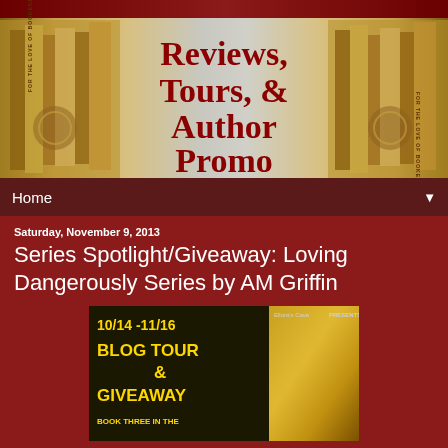[Figure (illustration): Blog banner header for 'For the Love of Bookends' website showing vintage books on left and right, decorative elements, with red text reading 'Reviews, Tours, & Author Promo' in the center]
Home ▼
Saturday, November 9, 2013
Series Spotlight/Giveaway: Loving Dangerously Series by AM Griffin
[Figure (illustration): Blog tour promotional banner showing '10/14 - 11/16 BLOG TOUR & GIVEAWAY BOOK THREE IN THE' text on dark background with golden figure on right side, labeled 'Ellora's Cave Presents']